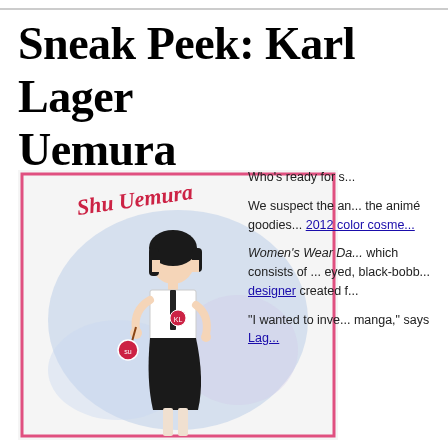Sneak Peek: Karl Lager... Uemura
By Erin Donnelly    07/19/12 at 01:00 PM
[Figure (illustration): Manga-style illustration of a girl with black bob hair in a school uniform holding a lollipop, with 'Shu Uemura' written in red script at the top, pink border frame, blue watercolor background]
Who's ready for s...
We suspect the an... the animé goodies... 2012 color cosme...
Women's Wear Do... which consists of ... eyed, black-bobb... designer created f...
"I wanted to inve... manga," says Lag...